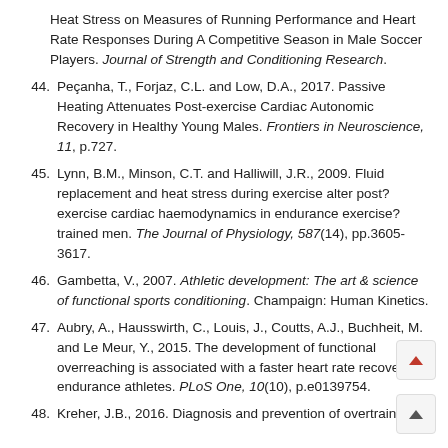Heat Stress on Measures of Running Performance and Heart Rate Responses During A Competitive Season in Male Soccer Players. Journal of Strength and Conditioning Research.
44. Peçanha, T., Forjaz, C.L. and Low, D.A., 2017. Passive Heating Attenuates Post-exercise Cardiac Autonomic Recovery in Healthy Young Males. Frontiers in Neuroscience, 11, p.727.
45. Lynn, B.M., Minson, C.T. and Halliwill, J.R., 2009. Fluid replacement and heat stress during exercise alter post?exercise cardiac haemodynamics in endurance exercise?trained men. The Journal of Physiology, 587(14), pp.3605-3617.
46. Gambetta, V., 2007. Athletic development: The art & science of functional sports conditioning. Champaign: Human Kinetics.
47. Aubry, A., Hausswirth, C., Louis, J., Coutts, A.J., Buchheit, M. and Le Meur, Y., 2015. The development of functional overreaching is associated with a faster heart rate recovery in endurance athletes. PLoS One, 10(10), p.e0139754.
48. Kreher, J.B., 2016. Diagnosis and prevention of overtraining